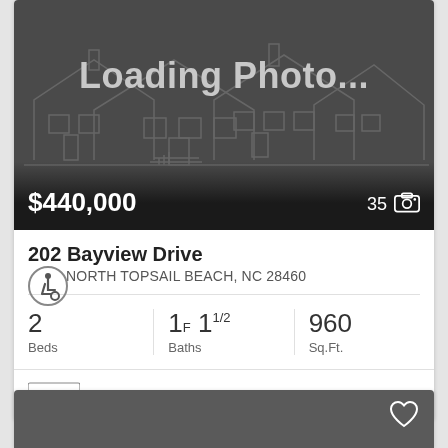[Figure (photo): Property listing photo placeholder showing a house outline sketch on dark gray background with 'Loading Photo...' text]
$440,000
35
202 Bayview Drive
NORTH TOPSAIL BEACH, NC 28460
2 Beds
1F 11/2 Baths
960 Sq.Ft.
MLS #: 100346382
[Figure (photo): Second property listing card, partially visible, dark gray background with heart/favorite icon]